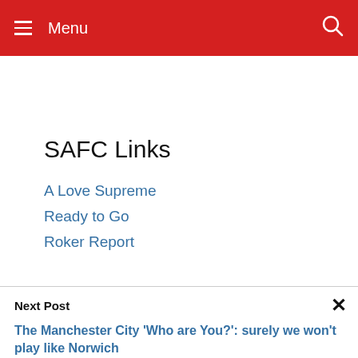Menu
SAFC Links
A Love Supreme
Ready to Go
Roker Report
Next Post
The Manchester City 'Who are You?': surely we won't play like Norwich